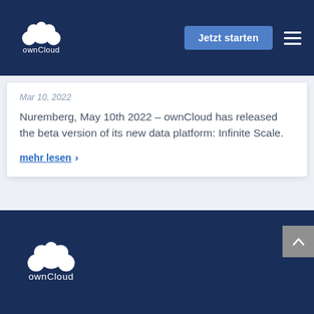ownCloud – Jetzt starten
Mar 10, 2022
Nuremberg, May 10th 2022 – ownCloud has released the beta version of its new data platform: Infinite Scale.
mehr lesen >
[Figure (logo): ownCloud logo in white on dark navy footer background]